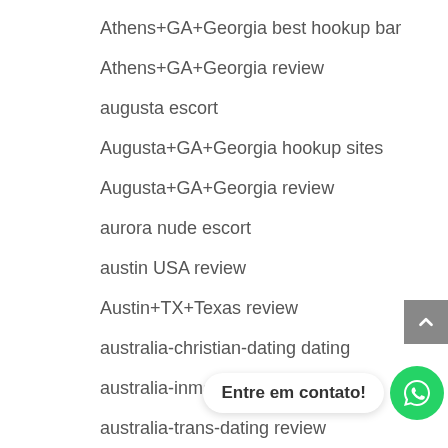Athens+GA+Georgia best hookup bar
Athens+GA+Georgia review
augusta escort
Augusta+GA+Georgia hookup sites
Augusta+GA+Georgia review
aurora nude escort
austin USA review
Austin+TX+Texas review
australia-christian-dating dating
australia-inmate-dating dating
australia-trans-dating review
autism-dating … gio
ayik-arkadas ?st ba?lant? alanlar?